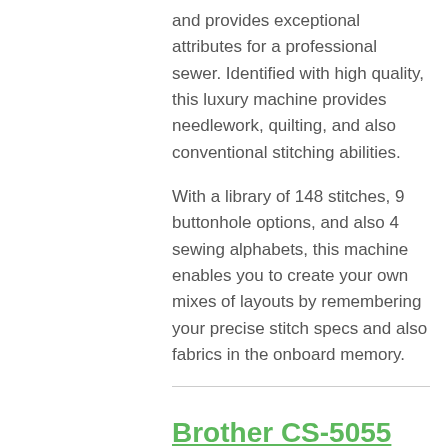and provides exceptional attributes for a professional sewer. Identified with high quality, this luxury machine provides needlework, quilting, and also conventional stitching abilities.
With a library of 148 stitches, 9 buttonhole options, and also 4 sewing alphabets, this machine enables you to create your own mixes of layouts by remembering your precise stitch specs and also fabrics in the onboard memory.
Brother CS-5055 PRW Limited Edition Project Runway 50 Stitch